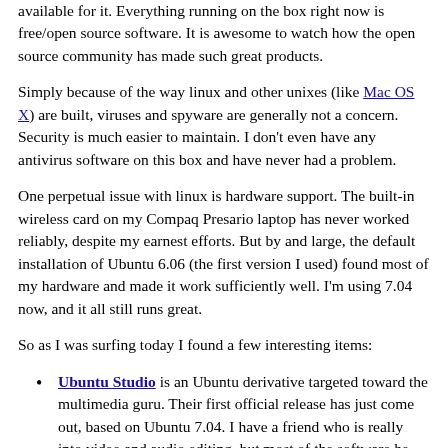available for it. Everything running on the box right now is free/open source software. It is awesome to watch how the open source community has made such great products.
Simply because of the way linux and other unixes (like Mac OS X) are built, viruses and spyware are generally not a concern. Security is much easier to maintain. I don't even have any antivirus software on this box and have never had a problem.
One perpetual issue with linux is hardware support. The built-in wireless card on my Compaq Presario laptop has never worked reliably, despite my earnest efforts. But by and large, the default installation of Ubuntu 6.06 (the first version I used) found most of my hardware and made it work sufficiently well. I'm using 7.04 now, and it all still runs great.
So as I was surfing today I found a few interesting items:
Ubuntu Studio is an Ubuntu derivative targeted toward the multimedia guru. Their first official release has just come out, based on Ubuntu 7.04. I have a friend who is really into video and audio editing, but most of the software he uses is written only for Windows (except for The GIMP, of course!). This is a step in the right direction for linux to enter this market. These blogs discuss Ubuntu Studio and may be of interest: